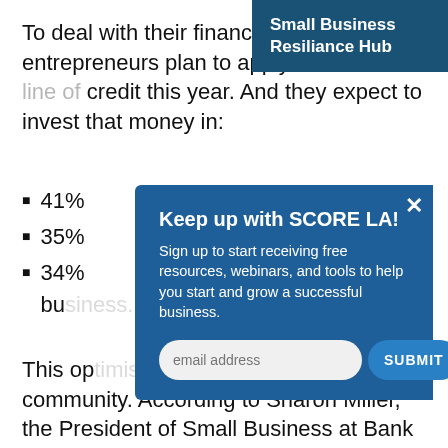Small Business Resiliance Hub
To deal with their financial situation, 4[?] entrepreneurs plan to apply for a ba[nk line of] credit this year. And they expect to invest that money in:
41%[...]
35%[...]
34%[...] bu[siness...]
[Figure (screenshot): Modal popup with title 'Keep up with SCORE LA!' and body text 'Sign up to start receiving free resources, webinars, and tools to help you start and grow a successful business.' with an email address input field and a SUBMIT button.]
This op[timism is shared by the] business community. According to Sharon Miller, the President of Small Business at Bank of America, their research shows all "small business owners are remaining positive and hopeful for the future of their